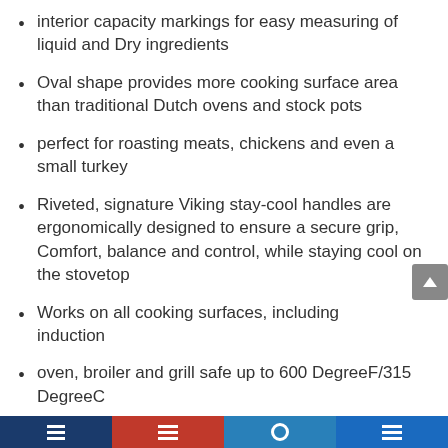interior capacity markings for easy measuring of liquid and Dry ingredients
Oval shape provides more cooking surface area than traditional Dutch ovens and stock pots
perfect for roasting meats, chickens and even a small turkey
Riveted, signature Viking stay-cool handles are ergonomically designed to ensure a secure grip, Comfort, balance and control, while staying cool on the stovetop
Works on all cooking surfaces, including induction
oven, broiler and grill safe up to 600 DegreeF/315 DegreeC
Dishwasher safe
manufacturer Limited Lifetime warranty